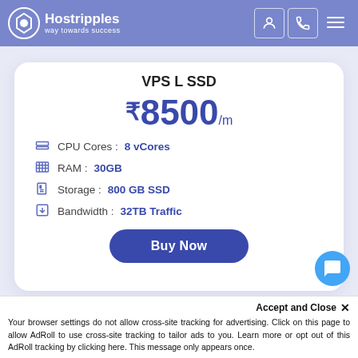Hostripples – way towards success
VPS L SSD
₹ 8500/m
CPU Cores : 8 vCores
RAM : 30GB
Storage : 800 GB SSD
Bandwidth : 32TB Traffic
Buy Now
Accept and Close ✕
Your browser settings do not allow cross-site tracking for advertising. Click on this page to allow AdRoll to use cross-site tracking to tailor ads to you. Learn more or opt out of this AdRoll tracking by clicking here. This message only appears once.